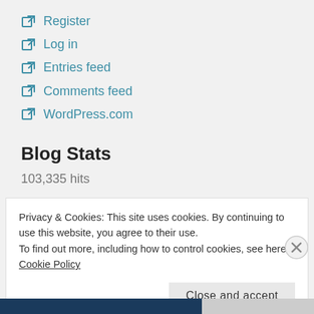Register
Log in
Entries feed
Comments feed
WordPress.com
Blog Stats
103,335 hits
Privacy & Cookies: This site uses cookies. By continuing to use this website, you agree to their use.
To find out more, including how to control cookies, see here: Cookie Policy